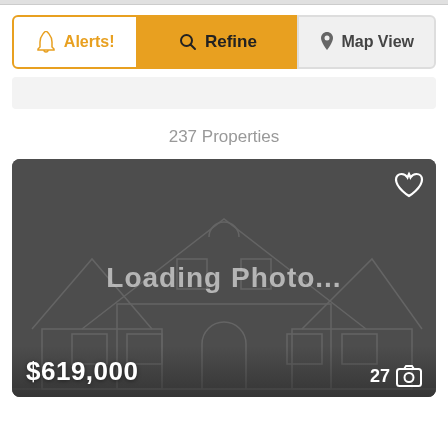[Figure (screenshot): Mobile real estate app UI showing Alerts, Refine, and Map View buttons]
237 Properties
[Figure (photo): Real estate listing card showing loading placeholder with house outline, price $619,000, and 27 photos indicator]